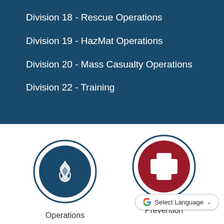Division 18 - Rescue Operations
Division 19 - HazMat Operations
Division 20 - Mass Casualty Operations
Division 22 - Training
[Figure (illustration): Blue circle with white flame icon labeled Operations]
[Figure (illustration): Red circle with white cross/plus icon labeled Prevention]
Operations
Prevention